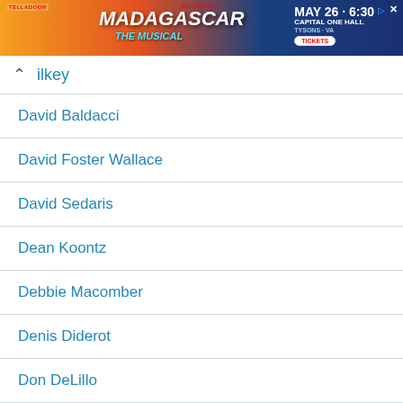[Figure (screenshot): Advertisement banner for Madagascar The Musical at Capital One Hall, Tysons VA, May 26 6:30]
Wilkey
David Baldacci
David Foster Wallace
David Sedaris
Dean Koontz
Debbie Macomber
Denis Diderot
Don DeLillo
Doris Lessing
Douglas Adams